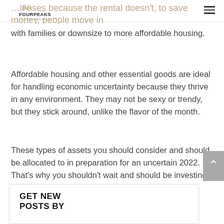FOURPEAKS CAPITAL PARTNERS
with families or downsize to more affordable housing.
Affordable housing and other essential goods are ideal for handling economic uncertainty because they thrive in any environment. They may not be sexy or trendy, but they stick around, unlike the flavor of the month.
These types of assets you should consider and should be allocated to in preparation for an uncertain 2022. That’s why you shouldn’t wait and should be investing now for 2022.
GET NEW POSTS BY